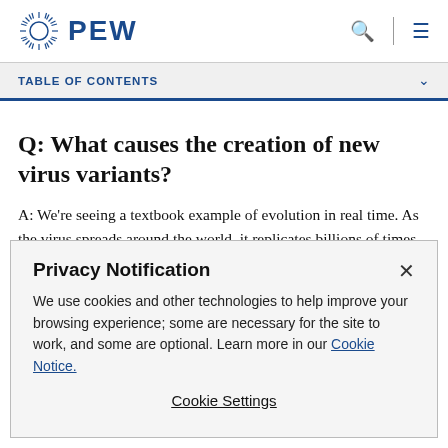PEW
TABLE OF CONTENTS
Q: What causes the creation of new virus variants?
A: We're seeing a textbook example of evolution in real time. As the virus spreads around the world, it replicates billions of times. Rare mistakes in replication introduce
Privacy Notification

We use cookies and other technologies to help improve your browsing experience; some are necessary for the site to work, and some are optional. Learn more in our Cookie Notice.

Cookie Settings